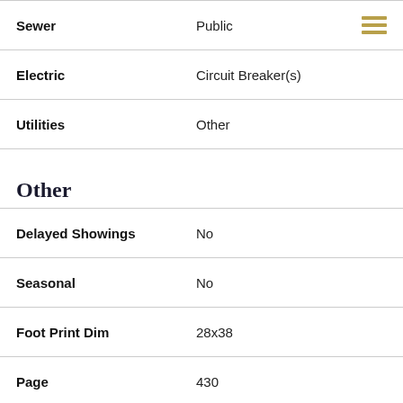| Field | Value |
| --- | --- |
| Sewer | Public |
| Electric | Circuit Breaker(s) |
| Utilities | Other |
Other
| Field | Value |
| --- | --- |
| Delayed Showings | No |
| Seasonal | No |
| Foot Print Dim | 28x38 |
| Page | 430 |
Your Local Office
Email Us About This Property »
More Info »
Office: 802-655-9100